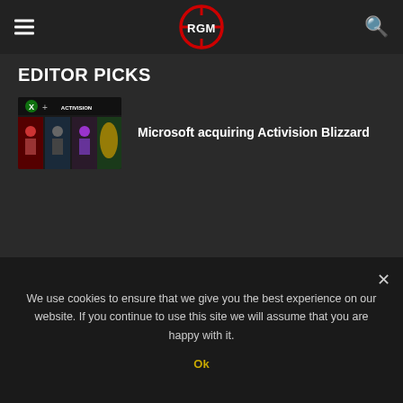RGM logo, hamburger menu, search icon
EDITOR PICKS
[Figure (screenshot): Xbox + Activision Blizzard game titles thumbnail showing Halo, Call of Duty, Warzone and other games]
Microsoft acquiring Activision Blizzard
Halo Infinite Cyber Showdown Event
We use cookies to ensure that we give you the best experience on our website. If you continue to use this site we will assume that you are happy with it.
Ok